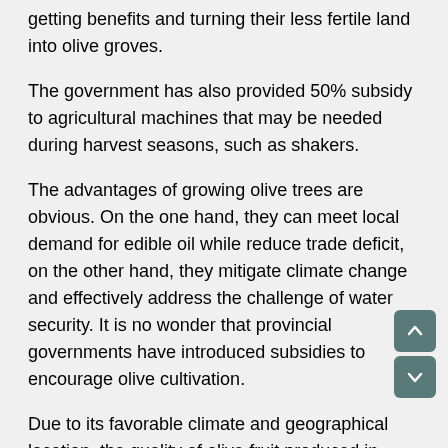getting benefits and turning their less fertile land into olive groves.
The government has also provided 50% subsidy to agricultural machines that may be needed during harvest seasons, such as shakers.
The advantages of growing olive trees are obvious. On the one hand, they can meet local demand for edible oil while reduce trade deficit, on the other hand, they mitigate climate change and effectively address the challenge of water security. It is no wonder that provincial governments have introduced subsidies to encourage olive cultivation.
Due to its favorable climate and geographical location, the quality of olive fruit produced in Pakistan is among the best around the world despite its late start.
According to Inam ul Haq, the quality of olive oil produced